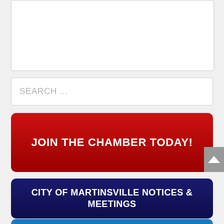[Figure (screenshot): White content box area at top of page]
SEARCH ...
JOIN THE CHAMBER TODAY!
CITY OF MARTINSVILLE NOTICES & MEETINGS